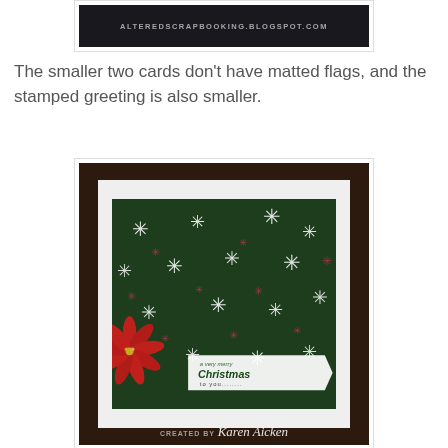[Figure (photo): Top partial image showing a dark background with blog watermark text ALTEREDSCRAPBOOKING.BLOGSPOT.COM]
The smaller two cards don't have matted flags, and the stamped greeting is also smaller.
[Figure (photo): Christmas card photo showing a green patterned background with white and pink snowflake/star designs, a red poinsettia flower embellishment in the lower left, and a 'Merry Christmas to you' greeting banner. Card is matted on white cardstock and mounted on dark brown background. Watermark reads 'CREATED BY Karen Aicken'.]